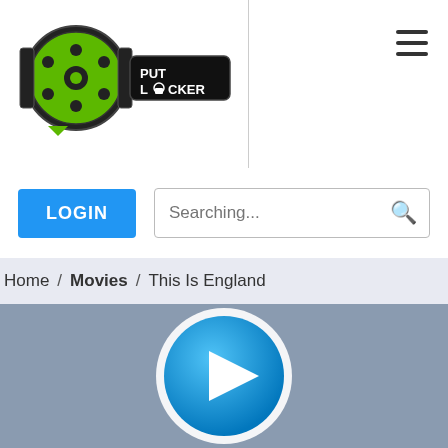[Figure (logo): Putlocker logo with film reel graphic and text PUT LOCKER]
[Figure (other): Hamburger menu icon (three horizontal lines)]
LOGIN
Searching...
Home / Movies / This Is England
[Figure (other): Video player area with play button circle]